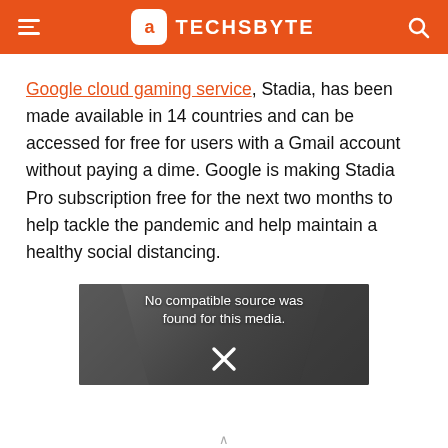TECHSBYTE
Google cloud gaming service, Stadia, has been made available in 14 countries and can be accessed for free for users with a Gmail account without paying a dime. Google is making Stadia Pro subscription free for the next two months to help tackle the pandemic and help maintain a healthy social distancing.
[Figure (screenshot): Embedded video player showing error message: No compatible source was found for this media.]